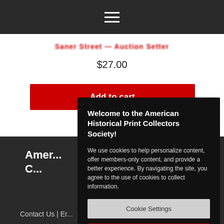[Figure (screenshot): Dark navigation bar with hamburger menu icon (three white horizontal lines)]
$27.00
Add to cart
Welcome to the American Historical Print Collectors Society!
We use cookies to help personalize content, offer members-only content, and provide a better experience. By navigating the site, you agree to the use of cookies to collect information.
Cookie Settings
Accept Cookies
Amer... C...
Contact Us | Er...